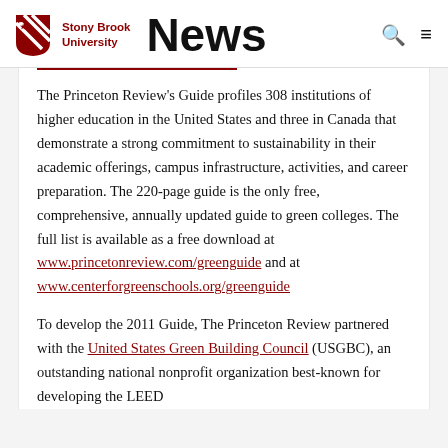Stony Brook University News
The Princeton Review's Guide profiles 308 institutions of higher education in the United States and three in Canada that demonstrate a strong commitment to sustainability in their academic offerings, campus infrastructure, activities, and career preparation. The 220-page guide is the only free, comprehensive, annually updated guide to green colleges. The full list is available as a free download at www.princetonreview.com/greenguide and at www.centerforgreenschools.org/greenguide
To develop the 2011 Guide, The Princeton Review partnered with the United States Green Building Council (USGBC), an outstanding national nonprofit organization best-known for developing the LEED